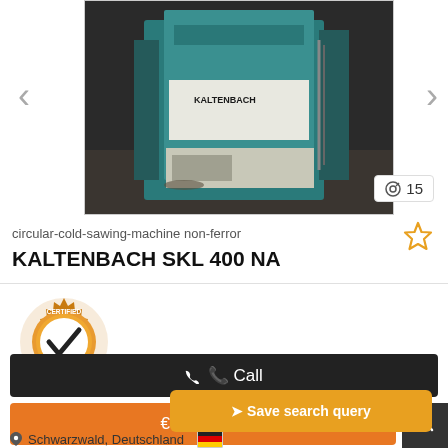[Figure (photo): Photo of a Kaltenbach SKL 400 NA circular cold sawing machine, teal/blue industrial machine in a workshop setting]
circular-cold-sawing-machine non-ferror
KALTENBACH  SKL 400 NA
[Figure (logo): Certified Dealer badge - gold gear-shaped emblem with checkmark and text CERTIFIED DEALER]
€ Price info
📞 Call
➤ Save search query
Schwarzwald, Deutschland